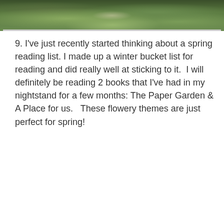[Figure (photo): Top portion of a photo showing green foliage/grass from above with a bright spot in the center]
9. I've just recently started thinking about a spring reading list. I made up a winter bucket list for reading and did really well at sticking to it.  I will definitely be reading 2 books that I've had in my nightstand for a few months: The Paper Garden & A Place for us.   These flowery themes are just perfect for spring!
[Figure (photo): Photo of two book covers on a patterned blanket: left book shows 'Harriet Evans - A Novel' with a golden house cover, right book shows 'Molly Peacock - The Paper' with a dark floral cover]